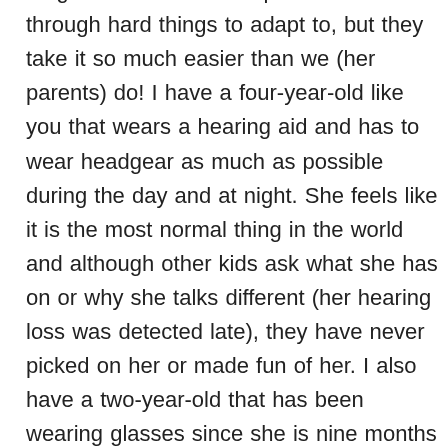encouragement and help! I know it is tough when we have to put our kids through hard things to adapt to, but they take it so much easier than we (her parents) do! I have a four-year-old like you that wears a hearing aid and has to wear headgear as much as possible during the day and at night. She feels like it is the most normal thing in the world and although other kids ask what she has on or why she talks different (her hearing loss was detected late), they have never picked on her or made fun of her. I also have a two-year-old that has been wearing glasses since she is nine months old and although people often comment on them (especially since she also has to patch), it does not seem to bother her. I am sure that your daughter will be absolutely beautiful in her glasses and being tall makes her stand out above her peers, so they will be too afraid to pick on her. 🙂 I can't believe she is so tall! She would make our shorty look like a dwarf. 🙂 Does it run in the family? Do send Ann Z a picture of her if you like. We would love to see her in her